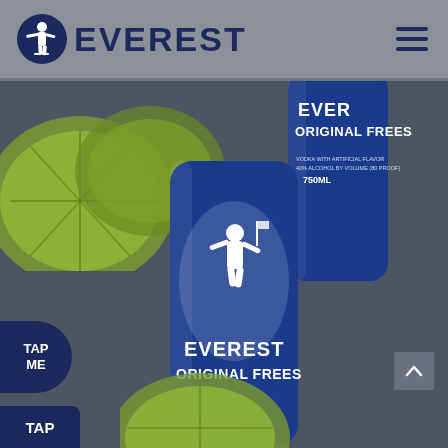[Figure (logo): Everest brand logo with hockey player icon and EVEREST text in dark blue]
[Figure (photo): Everest Original Freeze vodka bottles (750ML) with lime slices on dark background. Two bottles visible - one partial top view and one main center bottle with Everest branding and mountain climber logo. TAP ME circular button on left side. TAP button at bottom left. Scroll-to-top arrow at bottom right.]